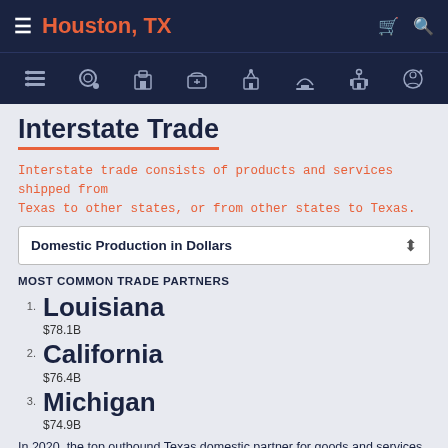Houston, TX
Interstate Trade
Interstate trade consists of products and services shipped from Texas to other states, or from other states to Texas.
Domestic Production in Dollars
MOST COMMON TRADE PARTNERS
1. Louisiana $78.1B
2. California $76.4B
3. Michigan $74.9B
In 2020, the top outbound Texas domestic partner for goods and services (by dollars) was Louisiana with $78.1B, followed by California with $76.4B and Michigan and $74.9B.